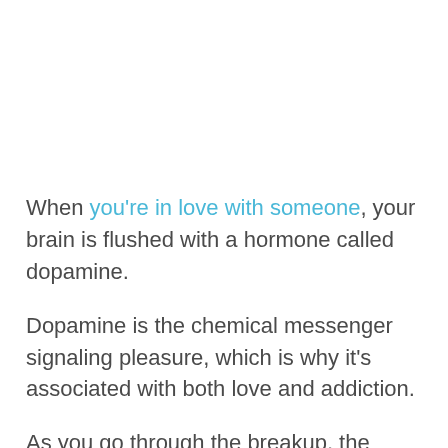When you're in love with someone, your brain is flushed with a hormone called dopamine.
Dopamine is the chemical messenger signaling pleasure, which is why it's associated with both love and addiction.
As you go through the breakup, the dopamine in your body tries to find the love object.